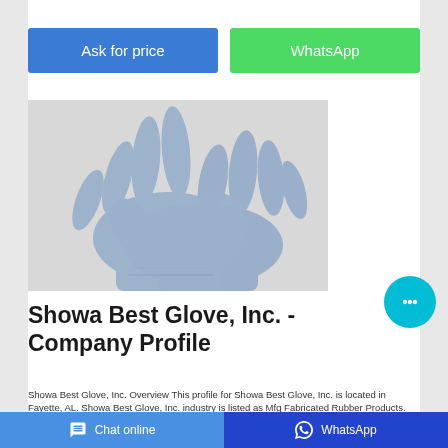Ask for price
WhatsApp
[Figure (photo): Two blue nitrile/latex gloves overlapping on a light background]
Showa Best Glove, Inc. - Company Profile
Showa Best Glove, Inc. Overview This profile for Showa Best Glove, Inc. is located in Fayette, AL. Showa Best Glove, Inc. industry is listed as Mfg Fabricated Rubber Products.
Chat online   WhatsApp